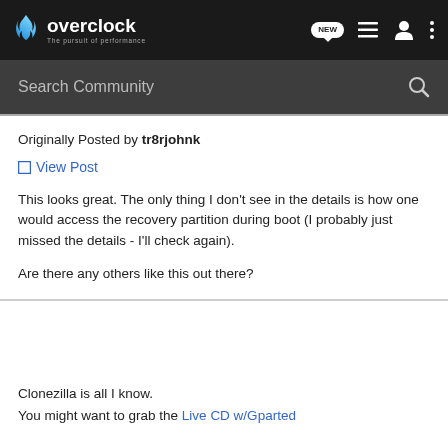overclock — The pursuit of performance
Search Community
Originally Posted by tr8rjohnk

View Post

This looks great. The only thing I don't see in the details is how one would access the recovery partition during boot (I probably just missed the details - I'll check again).

Are there any others like this out there?
Clonezilla is all I know.
You might want to grab the Live CD w/Gparted